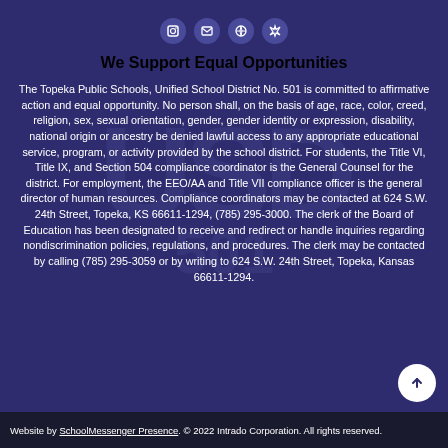We Support Equal Opportunities
The Topeka Public Schools, Unified School District No. 501 is committed to affirmative action and equal opportunity. No person shall, on the basis of age, race, color, creed, religion, sex, sexual orientation, gender, gender identity or expression, disability, national origin or ancestry be denied lawful access to any appropriate educational service, program, or activity provided by the school district. For students, the Title VI, Title IX, and Section 504 compliance coordinator is the General Counsel for the district. For employment, the EEO/AA and Title VII compliance officer is the general director of human resources. Compliance coordinators may be contacted at 624 S.W. 24th Street, Topeka, KS 66611-1294, (785) 295-3000. The clerk of the Board of Education has been designated to receive and redirect or handle inquiries regarding nondiscrimination policies, regulations, and procedures. The clerk may be contacted by calling (785) 295-3059 or by writing to 624 S.W. 24th Street, Topeka, Kansas 66611-1294.
Website by SchoolMessenger Presence. © 2022 Intrado Corporation. All rights reserved.